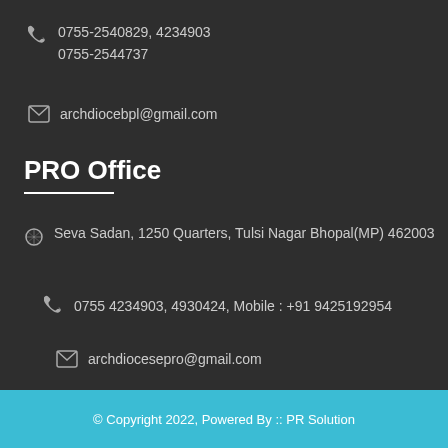0755-2540829, 4234903
0755-2544737
archdiocebpl@gmail.com
PRO Office
Seva Sadan, 1250 Quarters, Tulsi Nagar Bhopal(MP) 462003
0755 4234903, 4930424, Mobile : +91 9425192954
archdiocesepro@gmail.com
© Copyright 2022, Powered By :: PR Solution